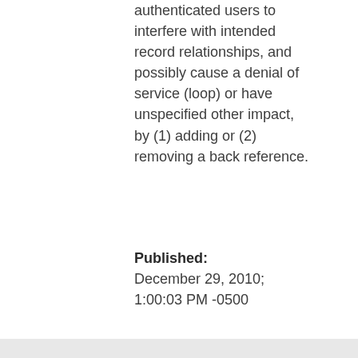authenticated users to interfere with intended record relationships, and possibly cause a denial of service (loop) or have unspecified other impact, by (1) adding or (2) removing a back reference.
Published: December 29, 2010; 1:00:03 PM -0500